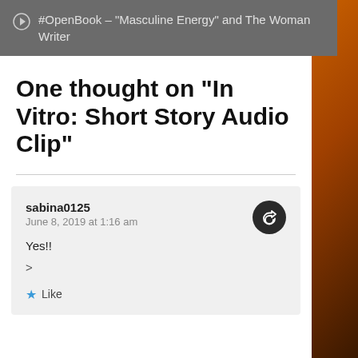#OpenBook – "Masculine Energy" and The Woman Writer
One thought on “In Vitro: Short Story Audio Clip”
sabina0125
June 8, 2019 at 1:16 am

Yes!!

>

★ Like